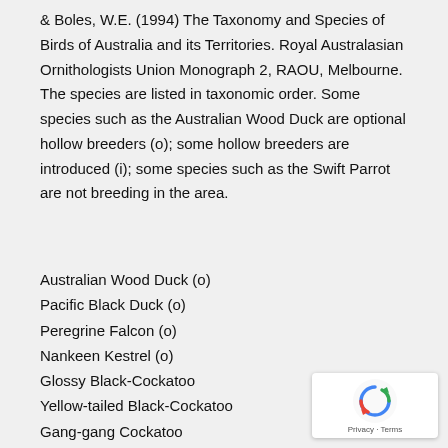& Boles, W.E. (1994) The Taxonomy and Species of Birds of Australia and its Territories. Royal Australasian Ornithologists Union Monograph 2, RAOU, Melbourne. The species are listed in taxonomic order. Some species such as the Australian Wood Duck are optional hollow breeders (o); some hollow breeders are introduced (i); some species such as the Swift Parrot are not breeding in the area.
Australian Wood Duck (o)
Pacific Black Duck (o)
Peregrine Falcon (o)
Nankeen Kestrel (o)
Glossy Black-Cockatoo
Yellow-tailed Black-Cockatoo
Gang-gang Cockatoo
Galah
Sulphur-crested Cockatoo